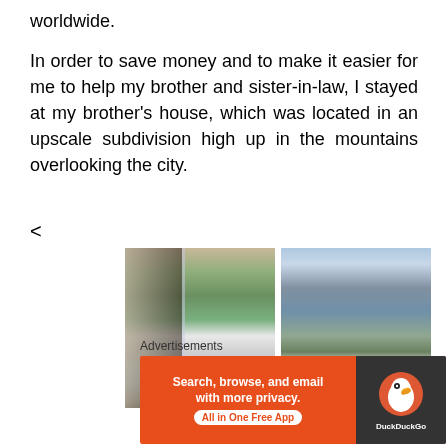worldwide.
In order to save money and to make it easier for me to help my brother and sister-in-law, I stayed at my brother's house, which was located in an upscale subdivision high up in the mountains overlooking the city.
<
[Figure (photo): Two side-by-side photos of a snowy mountain subdivision. Left photo shows view through a window with trees and snow-covered landscape. Right photo shows snow-covered houses and pine trees with a mountain backdrop.]
Advertisements
[Figure (screenshot): DuckDuckGo advertisement banner with orange background. Text reads: Search, browse, and email with more privacy. All in One Free App. DuckDuckGo logo on dark right panel.]